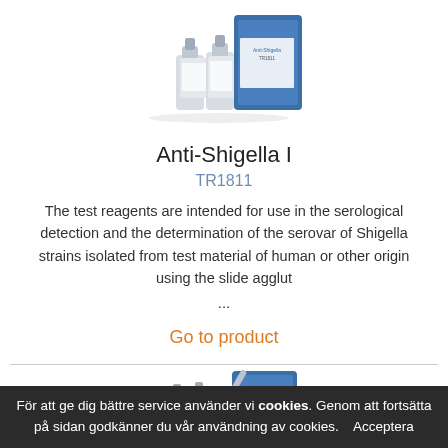[Figure (photo): Product photo of Anti-Shigella I reagent kit — small bottles and a blue box]
Anti-Shigella I
TR1811
The test reagents are intended for use in the serological detection and the determination of the serovar of Shigella strains isolated from test material of human or other origin using the slide agglut
...
Go to product
[Figure (photo): Product photo of a second reagent kit — small white bottles and a blue box, partially visible]
För att ge dig bättre service använder vi cookies. Genom att fortsätta på sidan godkänner du vår användning av cookies. Acceptera